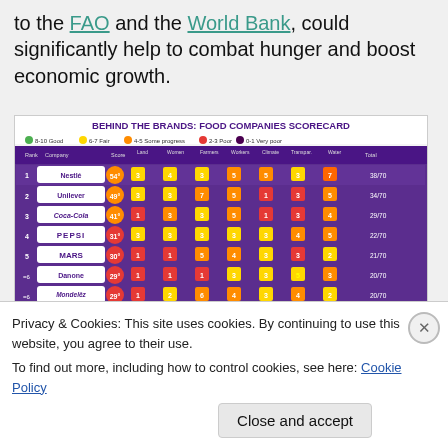to the FAO and the World Bank, could significantly help to combat hunger and boost economic growth.
[Figure (table-as-image): Behind the Brands: Food Companies Scorecard infographic showing 10 major food companies ranked by score across categories: Land, Women, Farmers, Workers, Climate, Transparency, Water. Companies include Nestlé (54pts, 38/70), Unilever (49pts, 34/70), Coca-Cola (41pts, 29/70), PepsiCo (31pts, 22/70), Mars (30pts, 21/70), General Mills row 6 (29pts, 20/70), Mondelez (29pts, 20/70), General Mills (23pts, 16/70), Kellogg's (23pts, 16/70), Associated British Foods (19pts, 13/70). Legend: 8-10 Good (green), 6-7 Fair (yellow), 4-5 Some progress (orange), 2-3 Poor (red), 0-1 Very poor (dark).]
Privacy & Cookies: This site uses cookies. By continuing to use this website, you agree to their use.
To find out more, including how to control cookies, see here: Cookie Policy